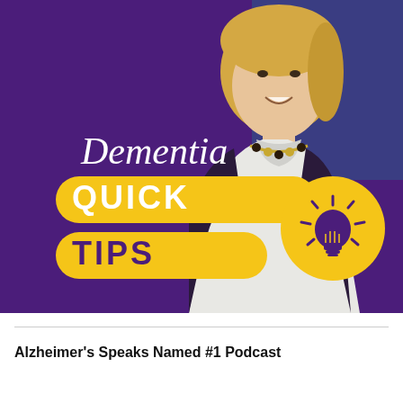[Figure (illustration): Podcast cover image for 'Dementia Quick Tips'. Purple background with a smiling blonde woman in a white turtleneck and dark jacket with a gold necklace. 'Dementia' written in white italic serif font. Below it, a yellow rounded rectangle badge with 'QUICK' in bold white uppercase text. Below that, another yellow rounded rectangle badge with 'TIPS' in bold purple uppercase text. A yellow circle on the right contains a purple light bulb icon with radiating lines.]
Alzheimer's Speaks Named #1 Podcast